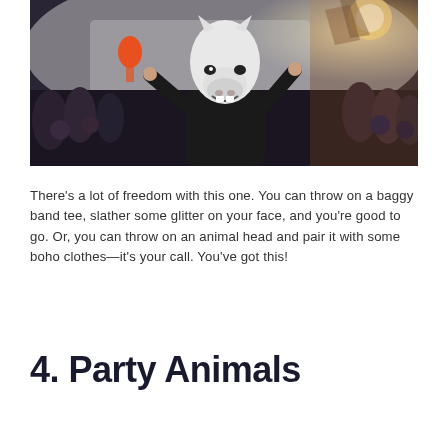[Figure (photo): A festival crowd photo showing a person wearing a white unicorn/horse mask and dark clothing, surrounded by a large crowd of festival-goers. The scene is outdoors with bright sunlight, and someone in the foreground holds an orange tassel or pom-pom decoration.]
There’s a lot of freedom with this one. You can throw on a baggy band tee, slather some glitter on your face, and you’re good to go. Or, you can throw on an animal head and pair it with some boho clothes—it’s your call. You’ve got this!
4. Party Animals